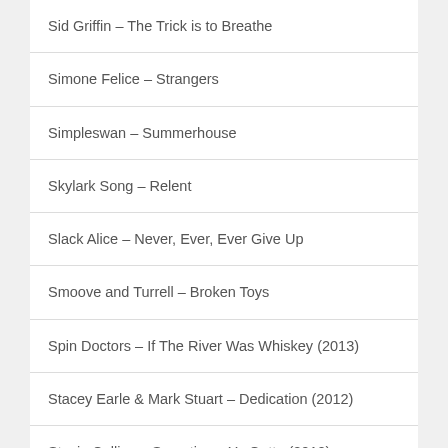Sid Griffin – The Trick is to Breathe
Simone Felice – Strangers
Simpleswan – Summerhouse
Skylark Song – Relent
Slack Alice – Never, Ever, Ever Give Up
Smoove and Turrell – Broken Toys
Spin Doctors – If The River Was Whiskey (2013)
Stacey Earle & Mark Stuart – Dedication (2012)
Stacie Collins – Sometimes Ya Gotta (2010)
Stacie Collins and the Al-Mighty Three – Shinin' Live (2013)